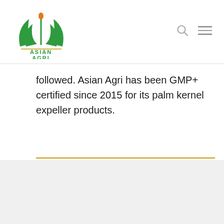[Figure (logo): Asian Agri logo with green stylized plant/leaf design and orange droplet, with text ASIAN AGRI below in green]
followed. Asian Agri has been GMP+ certified since 2015 for its palm kernel expeller products.